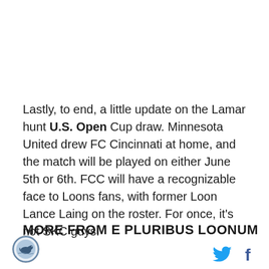Lastly, to end, a little update on the Lamar hunt U.S. Open Cup draw. Minnesota United drew FC Cincinnati at home, and the match will be played on either June 5th or 6th. FCC will have a recognizable face to Loons fans, with former Loon Lance Laing on the roster. For once, it's not SKC guys!
MORE FROM E PLURIBUS LOONUM
[Figure (logo): E Pluribus Loonum circular logo with fish/loon icon]
[Figure (logo): Twitter bird icon and Facebook f icon in footer]